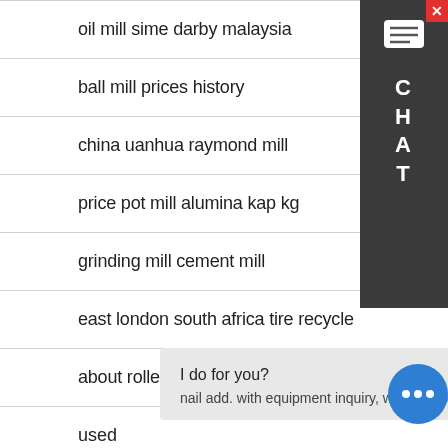oil mill sime darby malaysia
ball mill prices history
china uanhua raymond mill
price pot mill alumina kap kg
grinding mill cement mill
east london south africa tire recycle
about roller mill in cement pany
used …
I do for you?
nail add. with equipment inquiry, we will reply you with detail.